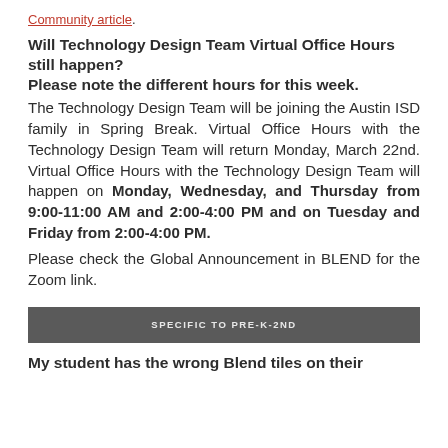Community article.
Will Technology Design Team Virtual Office Hours still happen?
Please note the different hours for this week.
The Technology Design Team will be joining the Austin ISD family in Spring Break. Virtual Office Hours with the Technology Design Team will return Monday, March 22nd. Virtual Office Hours with the Technology Design Team will happen on Monday, Wednesday, and Thursday from 9:00-11:00 AM and 2:00-4:00 PM and on Tuesday and Friday from 2:00-4:00 PM.
Please check the Global Announcement in BLEND for the Zoom link.
SPECIFIC TO PRE-K-2ND
My student has the wrong Blend tiles on their